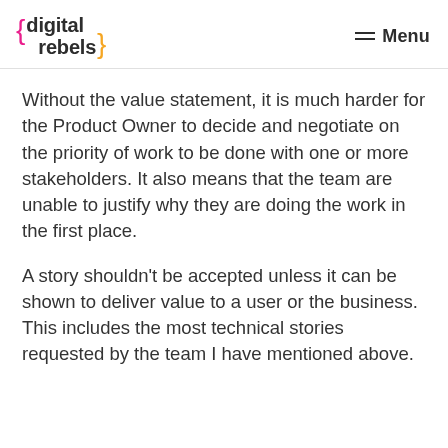{ digital rebels } Menu
Without the value statement, it is much harder for the Product Owner to decide and negotiate on the priority of work to be done with one or more stakeholders. It also means that the team are unable to justify why they are doing the work in the first place.
A story shouldn't be accepted unless it can be shown to deliver value to a user or the business. This includes the most technical stories requested by the team I have mentioned above.